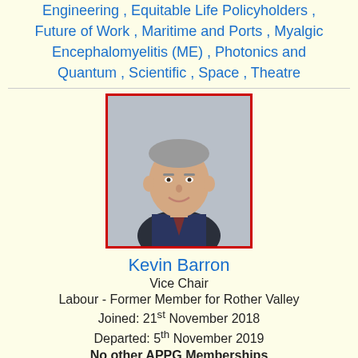Engineering , Equitable Life Policyholders , Future of Work , Maritime and Ports , Myalgic Encephalomyelitis (ME) , Photonics and Quantum , Scientific , Space , Theatre
[Figure (photo): Portrait photo of Kevin Barron with red border]
Kevin Barron
Vice Chair
Labour - Former Member for Rother Valley
Joined: 21st November 2018
Departed: 5th November 2019
No other APPG Memberships
[Figure (photo): Silhouette placeholder image with blue border for Glyn Davies]
Glyn Davies